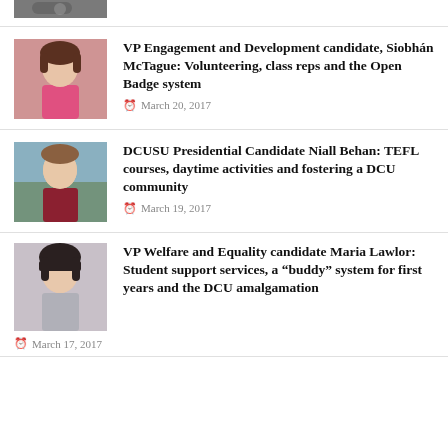[Figure (photo): Partial thumbnail photo at top of page, cropped]
[Figure (photo): Photo of Siobhán McTague, female student wearing pink top]
VP Engagement and Development candidate, Siobhán McTague: Volunteering, class reps and the Open Badge system
March 20, 2017
[Figure (photo): Photo of Niall Behan, male student wearing dark red t-shirt]
DCUSU Presidential Candidate Niall Behan: TEFL courses, daytime activities and fostering a DCU community
March 19, 2017
[Figure (photo): Photo of Maria Lawlor, female student with dark hair and fringe]
VP Welfare and Equality candidate Maria Lawlor: Student support services, a “buddy” system for first years and the DCU amalgamation
March 17, 2017